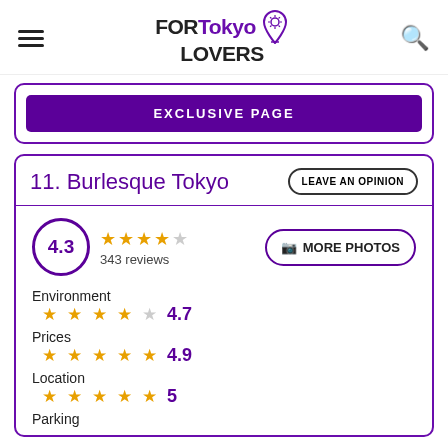FORTokyo LOVERS
EXCLUSIVE PAGE
11. Burlesque Tokyo
4.3 — 343 reviews
MORE PHOTOS
Environment 4.7
Prices 4.9
Location 5
Parking